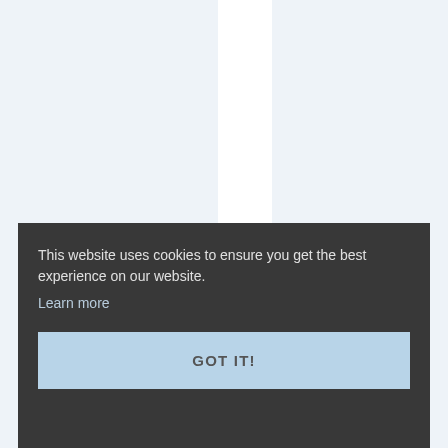[Figure (screenshot): Light blue-grey background with a white vertical panel partially visible in the upper center of the page, representing a website UI behind a cookie consent overlay.]
This website uses cookies to ensure you get the best experience on our website.
Learn more
GOT IT!